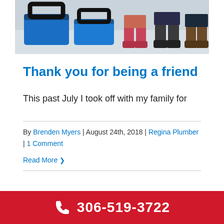[Figure (photo): Photo of children's feet/boots with blue shopping baskets in a store]
Thank you for being a friend
This past July I took off with my family for
By Brenden Myers | August 24th, 2018 | Regina Plumber | 1 Comment
Read More
306-519-3722